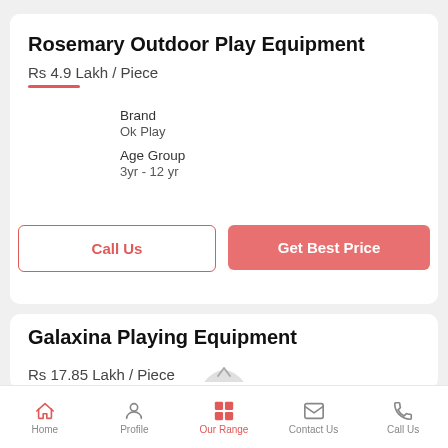Rosemary Outdoor Play Equipment
Rs 4.9 Lakh / Piece
Brand
Ok Play
Age Group
3yr - 12 yr
Call Us
Get Best Price
Galaxina Playing Equipment
Rs 17.85 Lakh / Piece
Home  Profile  Our Range  Contact Us  Call Us